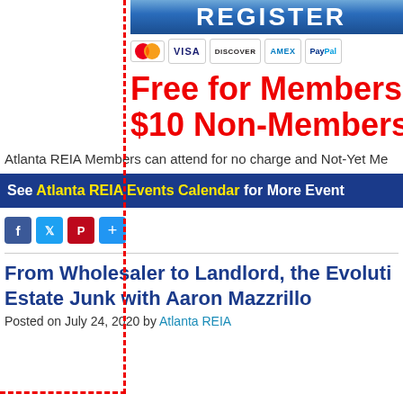[Figure (other): Register button (blue gradient) partially visible at top, with payment icons: Mastercard, VISA, DISCOVER, AMEX, PayPal. Red dashed border box on left side. Large red bold text: Free for Members / $10 Non-Members]
Atlanta REIA Members can attend for no charge and Not-Yet Me
See Atlanta REIA Events Calendar for More Event
[Figure (other): Social sharing icons: Facebook (blue), Twitter (blue), Pinterest (red), Share (blue plus)]
From Wholesaler to Landlord, the Evoluti... Estate Junk with Aaron Mazzrillo
Posted on July 24, 2020 by Atlanta REIA